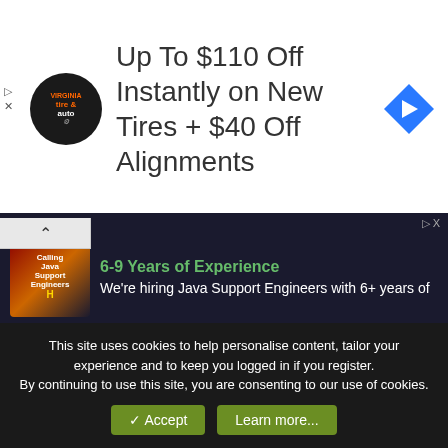[Figure (other): Advertisement banner: Virginia Tire & Auto logo (circular black logo with orange 'tire & auto' text) on left, large text 'Up To $110 Off Instantly on New Tires + $40 Off Alignments' in center, blue diamond navigation icon on right]
g down your alarmism. https://www.climate.gov/news-features/climate-qa/whats-hottest-earths-ever-been
Do we need to get away from carbon pollution? Sure do, look at the smog in China/India. Are we going to do it in 20 years or else the planet cooks itself like an egg? Sure as hell don't. We need to move away from fossil fuels more due to air quality than we do because some crazy super storms like in the movies are going to destroy us.
[Figure (other): Advertisement: '6-9 Years of Experience' heading in green, 'We're hiring Java Support Engineers with 6+ years of' text, with a photo of a person and Java Support Engineers branding]
This site uses cookies to help personalise content, tailor your experience and to keep you logged in if you register.
By continuing to use this site, you are consenting to our use of cookies.
✓ Accept    Learn more...